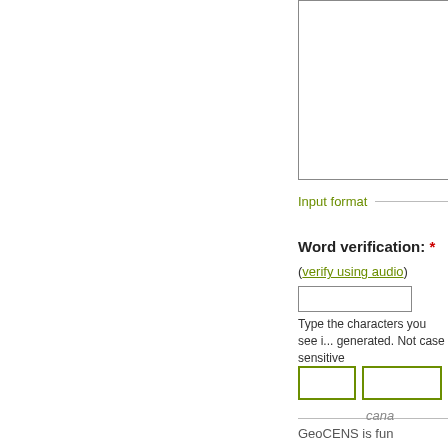[Figure (other): Large text area input box, partially visible on the right side of the page]
Input format
Word verification: *
(verify using audio)
[Figure (other): Text input field for word verification]
Type the characters you see in the picture above; generated. Not case sensitive
[Figure (other): Two green-outlined button boxes in a row]
GeoCENS is fun
[Figure (logo): Canada government logo, partially visible]